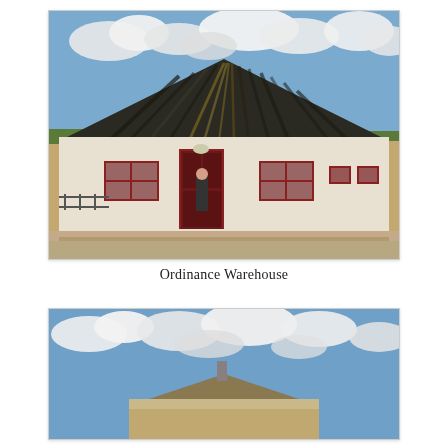[Figure (photo): A historic ordinance warehouse building with a steep dark wooden gabled roof and white stucco lower walls. The building has red-trimmed doors and windows. A person stands in the open red door. The surroundings are a gravel yard with open prairie and sky in the background.]
Ordinance Warehouse
[Figure (photo): Partial view of another historic building with a cloudy blue sky backdrop, showing a roofline with a small chimney visible.]